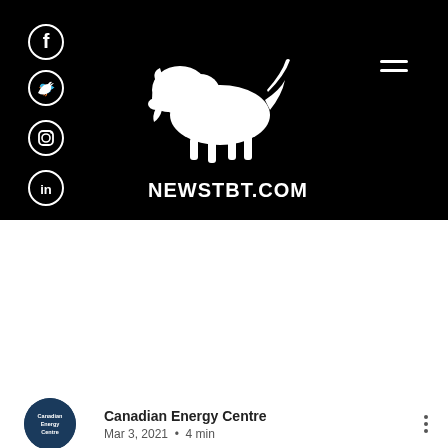NEWSTBT.COM — website header with social icons (Facebook, Twitter, Instagram, LinkedIn), bison logo, and hamburger menu
[Figure (screenshot): NFA (National Firearms Association) advertisement banner: 'HOW MUCH ARE YOUR RIGHTS WORTH?' with person holding bow and NFA logo]
Post
Canadian Energy Centre
Mar 3, 2021  •  4 min